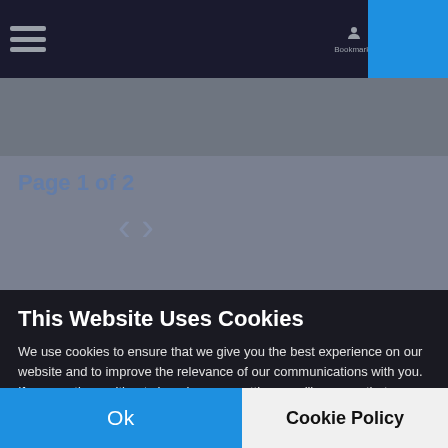[Figure (screenshot): Blurred/dimmed website background showing a dark navigation bar with hamburger menu icon, nav icons, and a blue accent box on the right. Below the navbar is a grayed-out page content area with blurred text 'Page 1 of 2' and pagination arrows.]
This Website Uses Cookies
We use cookies to ensure that we give you the best experience on our website and to improve the relevance of our communications with you. If you continue without changing your settings, we'll assume that you are happy to receive all cookies on our website. However, if you would like to, you can change your cookie settings at any time. You can find detailed information about how cookies are used on this website by clicking Cookie Policy.
Ok
Cookie Policy